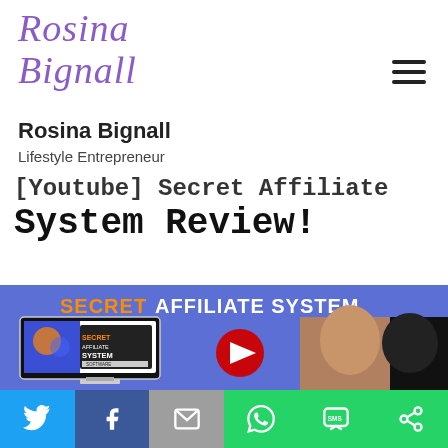Rosina Bignall – Lifestyle Entrepreneur
[Youtube] Secret Affiliate System Review!
[Figure (screenshot): Thumbnail image for 'Secret Affiliate System' YouTube review video, showing a blue background with orange text 'SECRET' and white text 'AFFILIATE SYSTEM', a computer monitor displaying 'Secret Affiliate System Software', a YouTube play button, and a woman with a black dog.]
[Figure (infographic): Social sharing bar at the bottom with Twitter (blue), Facebook (dark blue), Email (grey), WhatsApp (green), SMS (green), and a share icon (green) buttons.]